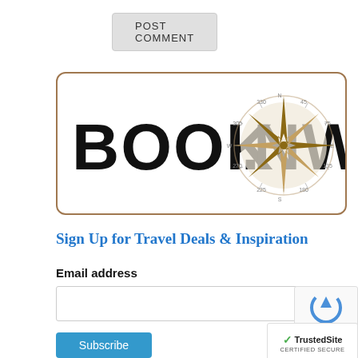POST COMMENT
[Figure (logo): Book Now logo with compass rose replacing the 'O' in NOW, bold black serif text on white background with brown border]
Sign Up for Travel Deals & Inspiration
Email address
[Figure (other): Email address input field]
[Figure (other): reCAPTCHA widget partially visible]
Subscribe
[Figure (other): TrustedSite certified secure badge]